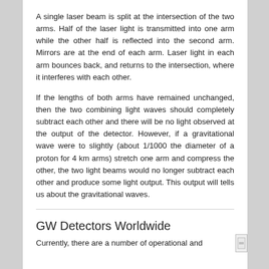A single laser beam is split at the intersection of the two arms. Half of the laser light is transmitted into one arm while the other half is reflected into the second arm. Mirrors are at the end of each arm. Laser light in each arm bounces back, and returns to the intersection, where it interferes with each other.
If the lengths of both arms have remained unchanged, then the two combining light waves should completely subtract each other and there will be no light observed at the output of the detector. However, if a gravitational wave were to slightly (about 1/1000 the diameter of a proton for 4 km arms) stretch one arm and compress the other, the two light beams would no longer subtract each other and produce some light output. This output will tells us about the gravitational waves.
GW Detectors Worldwide
Currently, there are a number of operational and